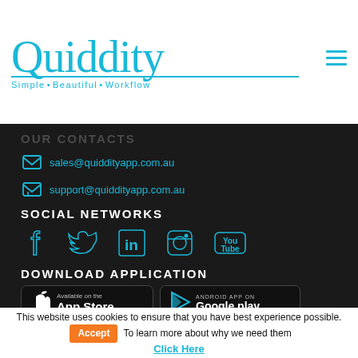Quiddity — Simple•Beautiful•Workflow
OUR CONTACTS
sales@quiddityapp.com.au
support@quiddityapp.com.au
SOCIAL NETWORKS
[Figure (illustration): Social media icons: Facebook, Twitter, LinkedIn, Instagram, YouTube — outlined in cyan on dark background]
DOWNLOAD APPLICATION
[Figure (illustration): App Store and Google Play download badges on dark background]
This website uses cookies to ensure that you have best experience possible.  Accept  To learn more about why we need them  Click Here